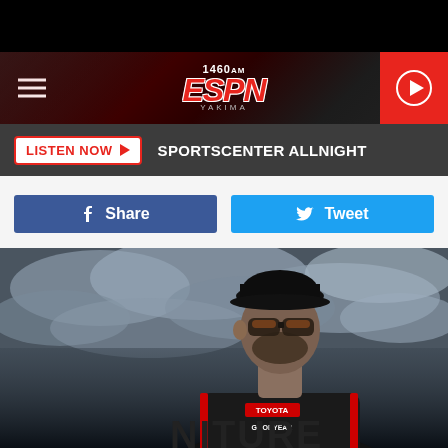[Figure (screenshot): Top black bar area]
1460 AM ESPN YAKIMA — navigation header with hamburger menu, ESPN logo, and play button
LISTEN NOW ▶  SPORTSCENTER ALLNIGHT
f  Share    🐦  Tweet
[Figure (photo): NASCAR driver in black racing suit with Toyota/Goodyear sponsorship and 'NITURE' (Furniture Row) branding visible, wearing sunglasses and black cap, photographed from low angle against dramatic cloudy sky, black and white/desaturated style]